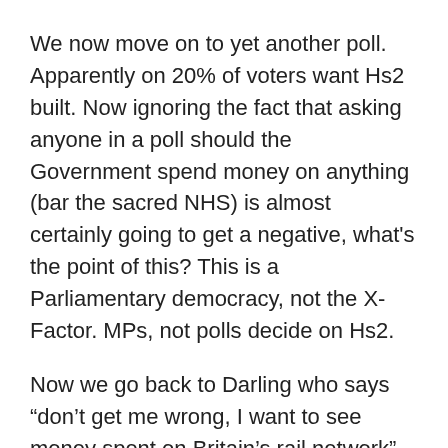We now move on to yet another poll. Apparently on 20% of voters want Hs2 built. Now ignoring the fact that asking anyone in a poll should the Government spend money on anything (bar the sacred NHS) is almost certainly going to get a negative, what’s the point of this? This is a Parliamentary democracy, not the X-Factor. MPs, not polls decide on Hs2.
Now we go back to Darling who says “don’t get me wrong, I want to see money spent on Britain’s rail network” These are hollow words. Did I mention that one of the reasons we still have the Pacers that Halligan hates is because when the Northern Rail franchise was let in 2004 it was done on the basis of Zero growth and no investment in new trains. Who was Transport Minister at the time? Darling. Funny that Halligan doesn’t seem to know that, or